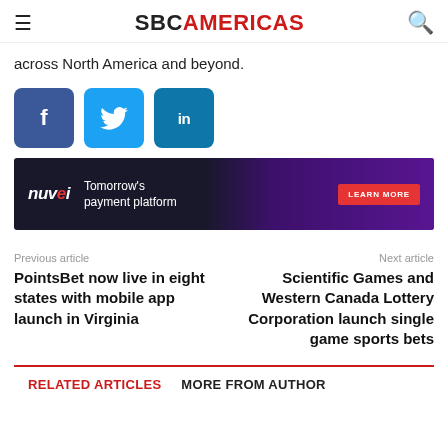SBC AMERICAS
across North America and beyond.
[Figure (infographic): Social share buttons: Facebook (blue), Twitter (light blue), LinkedIn (dark blue)]
[Figure (infographic): Nuvei advertisement banner: Tomorrow's payment platform. LEARN MORE button.]
Previous article
PointsBet now live in eight states with mobile app launch in Virginia
Next article
Scientific Games and Western Canada Lottery Corporation launch single game sports bets
RELATED ARTICLES   MORE FROM AUTHOR